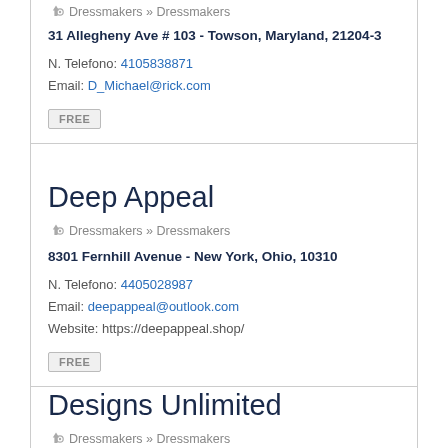Dressmakers » Dressmakers
31 Allegheny Ave # 103 - Towson, Maryland, 21204-3
N. Telefono: 4105838871
Email: D_Michael@rick.com
FREE
Deep Appeal
Dressmakers » Dressmakers
8301 Fernhill Avenue - New York, Ohio, 10310
N. Telefono: 4405028987
Email: deepappeal@outlook.com
Website: https://deepappeal.shop/
FREE
Designs Unlimited
Dressmakers » Dressmakers